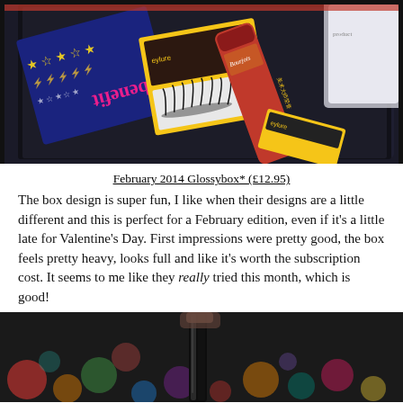[Figure (photo): Photo of February 2014 Glossybox showing beauty products including false eyelashes, a yellow/black eyelash box, a red tube, and a star-patterned box inside a black gift box with red ribbon.]
February 2014 Glossybox* (£12.95)
The box design is super fun, I like when their designs are a little different and this is perfect for a February edition, even if it's a little late for Valentine's Day. First impressions were pretty good, the box feels pretty heavy, looks full and like it's worth the subscription cost. It seems to me like they really tried this month, which is good!
[Figure (photo): Close-up photo of a black mascara wand/tube held against a blurred bokeh background with colorful lights (red, green, blue, yellow, pink).]